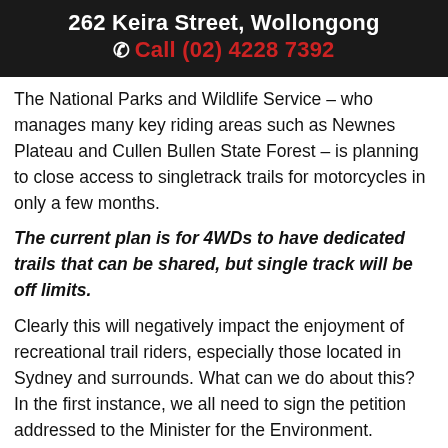262 Keira Street, Wollongong
Call (02) 4228 7392
The National Parks and Wildlife Service – who manages many key riding areas such as Newnes Plateau and Cullen Bullen State Forest – is planning to close access to singletrack trails for motorcycles in only a few months.
The current plan is for 4WDs to have dedicated trails that can be shared, but single track will be off limits.
Clearly this will negatively impact the enjoyment of recreational trail riders, especially those located in Sydney and surrounds. What can we do about this? In the first instance, we all need to sign the petition addressed to the Minister for the Environment.